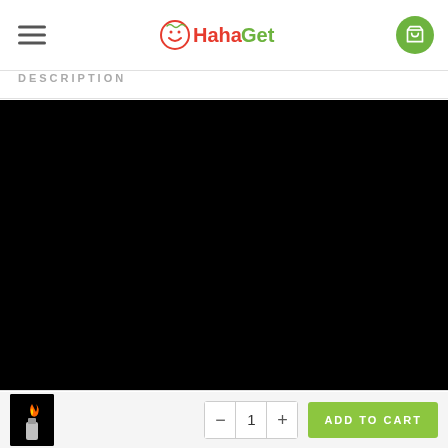HahaGet
DESCRIPTION
[Figure (photo): Large black product image area (appears dark/black background with no visible content)]
[Figure (photo): Thumbnail image of a lighter with flame on black background]
- 1 + ADD TO CART